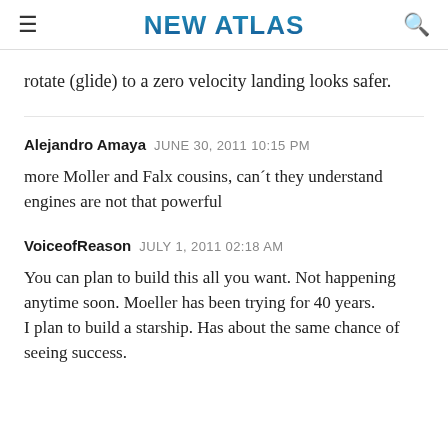NEW ATLAS
rotate (glide) to a zero velocity landing looks safer.
Alejandro Amaya  JUNE 30, 2011 10:15 PM
more Moller and Falx cousins, can´t they understand engines are not that powerful
VoiceofReason  JULY 1, 2011 02:18 AM
You can plan to build this all you want. Not happening anytime soon. Moeller has been trying for 40 years.
I plan to build a starship. Has about the same chance of seeing success.